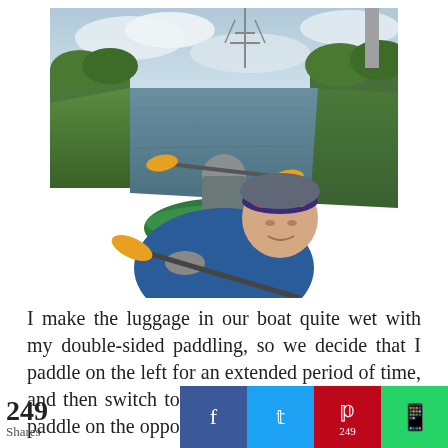[Figure (photo): Selfie photo of two people kayaking on a canal or river. In the foreground, a woman wearing a colorful floral headband and blue jacket looks down at the camera. Behind her, a man in a grey jacket and life vest paddles with an orange double-bladed paddle. The river is flanked by green banks, trees, and an electricity pylon in the background under a cloudy sky.]
I make the luggage in our boat quite wet with my double-sided paddling, so we decide that I paddle on the left for an extended period of time, and then switch to the right at some point. Jo... paddle on the oppos it...
[Figure (infographic): Social share bar at the bottom with 249 shares count on left, followed by Facebook, Twitter, Pinterest (249), and WhatsApp share buttons.]